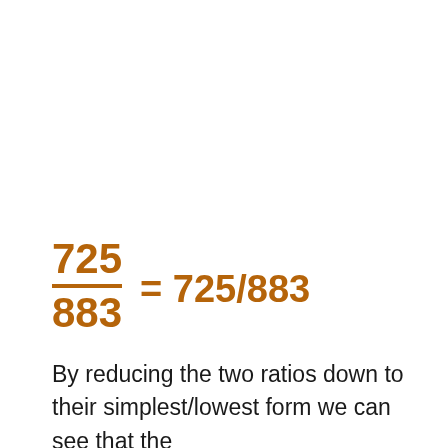By reducing the two ratios down to their simplest/lowest form we can see that the simplest form of 593/161 is 3 110/161 and the simplest form of 725/883 is 725/883